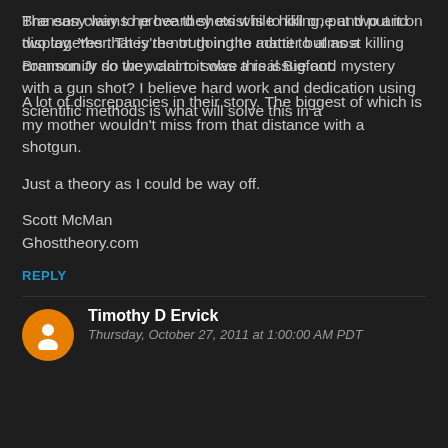Branson claims he heard shots while hiking, put two and two together. They're not going to admit to almost killing Branson Jr so they claim it was a real Bigfoot.
A lot of discrepancies in their story. The biggest of which is my mother wouldn't miss from that distance with a shotgun.
Just a theory as I could be way off.
Scott McMan
Ghosttheory.com
REPLY
Timothy D Ervick
Thursday, October 27, 2011 at 1:00:00 AM PDT
The easy way to prove they exist is to kill one and put it on display. Yes that is the truth in the matter but as a community do we want to solve this issue and mystery with a gun shot? I believe hard work and dedication using scientific methods is what will solve this in a